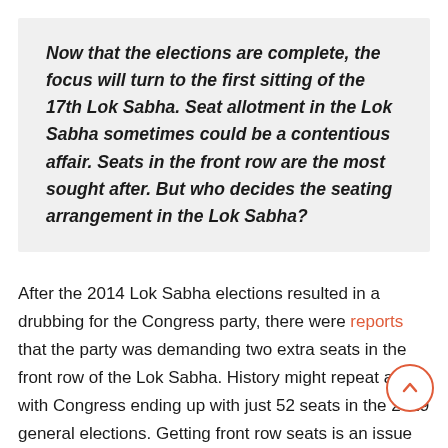Now that the elections are complete, the focus will turn to the first sitting of the 17th Lok Sabha. Seat allotment in the Lok Sabha sometimes could be a contentious affair. Seats in the front row are the most sought after. But who decides the seating arrangement in the Lok Sabha?
After the 2014 Lok Sabha elections resulted in a drubbing for the Congress party, there were reports that the party was demanding two extra seats in the front row of the Lok Sabha. History might repeat again with Congress ending up with just 52 seats in the 2019 general elections. Getting front row seats is an issue of prestige for most parties and senior members of the house. Then, how is the seating arrangement in the Lok Sabha